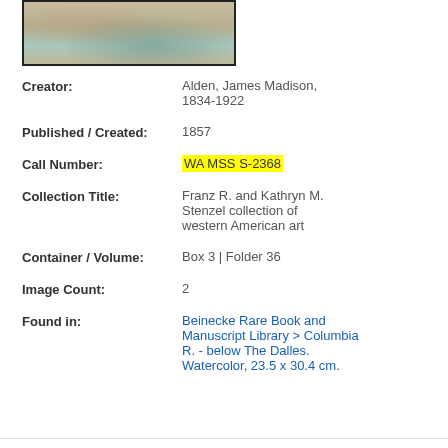[Figure (photo): Partial view of a watercolor painting showing a river scene, likely the Columbia River below The Dalles.]
Creator: Alden, James Madison, 1834-1922
Published / Created: 1857
Call Number: WA MSS S-2368
Collection Title: Franz R. and Kathryn M. Stenzel collection of western American art
Container / Volume: Box 3 | Folder 36
Image Count: 2
Found in: Beinecke Rare Book and Manuscript Library > Columbia R. - below The Dalles. Watercolor, 23.5 x 30.4 cm.